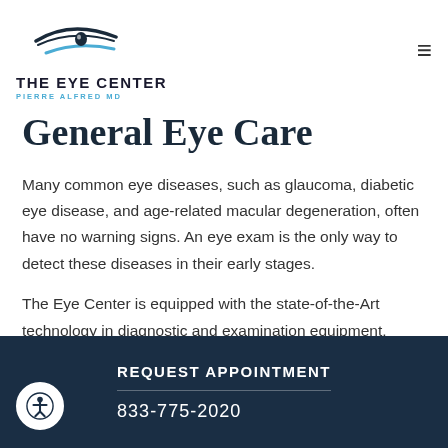[Figure (logo): The Eye Center logo with eye icon, text 'THE EYE CENTER' and 'PIERRE ALFRED MD']
General Eye Care
Many common eye diseases, such as glaucoma, diabetic eye disease, and age-related macular degeneration, often have no warning signs. An eye exam is the only way to detect these diseases in their early stages.
The Eye Center is equipped with the state-of-the-Art technology in diagnostic and examination equipment, allowing us to provide you with the most comprehensive eye examinations available
REQUEST APPOINTMENT
833-775-2020